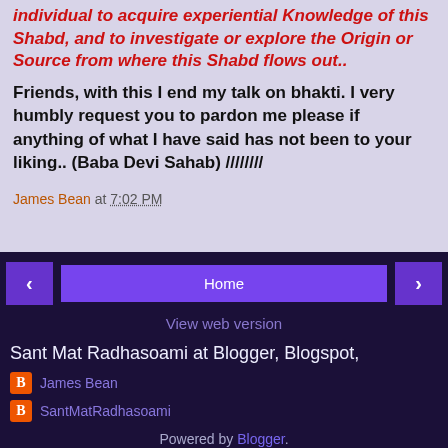individual to acquire experiential Knowledge of this Shabd, and to investigate or explore the Origin or Source from where this Shabd flows out..
Friends, with this I end my talk on bhakti. I very humbly request you to pardon me please if anything of what I have said has not been to your liking.. (Baba Devi Sahab) ////////
James Bean at 7:02 PM
[Figure (screenshot): Navigation buttons: left arrow, Home button, right arrow on dark purple background]
View web version
Sant Mat Radhasoami at Blogger, Blogspot,
James Bean
SantMatRadhasoami
Powered by Blogger.